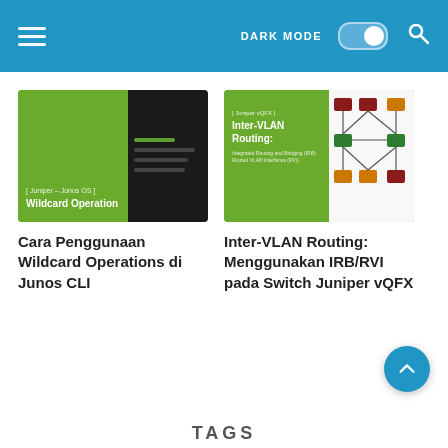DARK MODE [toggle] [search icon]
[Figure (screenshot): Thumbnail for 'Cara Penggunaan Wildcard Operations di Junos CLI': green panel with title text on left, black CLI terminal panel on right]
Cara Penggunaan Wildcard Operations di Junos CLI
[Figure (screenshot): Thumbnail for 'Inter-VLAN Routing: Menggunakan IRB/RVI pada Switch Juniper vQFX': green panel with title text on left, network diagram with colored nodes on right]
Inter-VLAN Routing: Menggunakan IRB/RVI pada Switch Juniper vQFX
TAGS